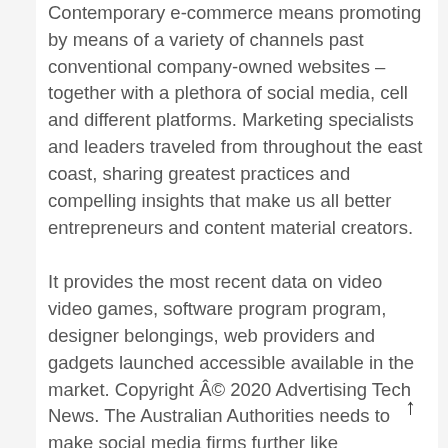Contemporary e-commerce means promoting by means of a variety of channels past conventional company-owned websites – together with a plethora of social media, cell and different platforms. Marketing specialists and leaders traveled from throughout the east coast, sharing greatest practices and compelling insights that make us all better entrepreneurs and content material creators.
It provides the most recent data on video video games, software program program, designer belongings, web providers and gadgets launched accessible available in the market. Copyright Â© 2020 Advertising Tech News. The Australian Authorities needs to make social media firms further like newspapers within the case of revealed slurs